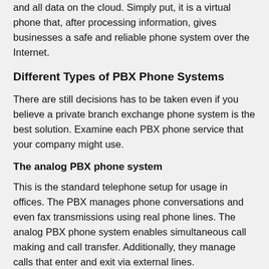and all data on the cloud. Simply put, it is a virtual phone that, after processing information, gives businesses a safe and reliable phone system over the Internet.
Different Types of PBX Phone Systems
There are still decisions has to be taken even if you believe a private branch exchange phone system is the best solution. Examine each PBX phone service that your company might use.
The analog PBX phone system
This is the standard telephone setup for usage in offices. The PBX manages phone conversations and even fax transmissions using real phone lines. The analog PBX phone system enables simultaneous call making and call transfer. Additionally, they manage calls that enter and exit via external lines.
Remember that analog systems, which use copper phone lines, predate the Internet. As a result, they